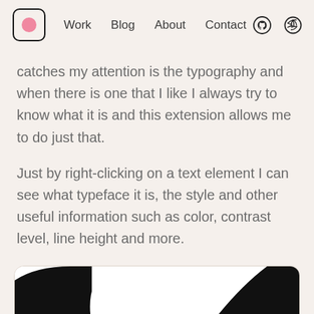Work  Blog  About  Contact
catches my attention is the typography and when there is one that I like I always try to know what it is and this extension allows me to do just that.
Just by right-clicking on a text element I can see what typeface it is, the style and other useful information such as color, contrast level, line height and more.
[Figure (screenshot): Partial screenshot showing a dark browser extension or application interface at the bottom of the page]